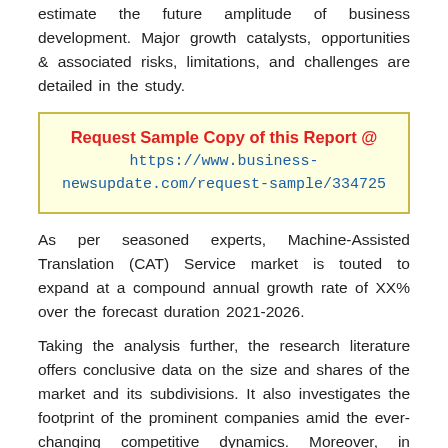estimate the future amplitude of business development. Major growth catalysts, opportunities & associated risks, limitations, and challenges are detailed in the study.
Request Sample Copy of this Report @ https://www.business-newsupdate.com/request-sample/334725
As per seasoned experts, Machine-Assisted Translation (CAT) Service market is touted to expand at a compound annual growth rate of XX% over the forecast duration 2021-2026.
Taking the analysis further, the research literature offers conclusive data on the size and shares of the market and its subdivisions. It also investigates the footprint of the prominent companies amid the ever-changing competitive dynamics. Moreover, in hindsight of the Covid-19 pandemic, the report